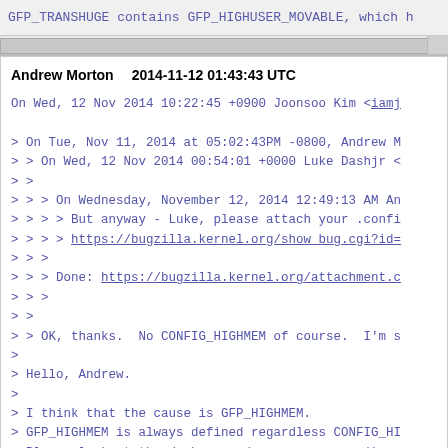GFP_TRANSHUGE contains GFP_HIGHUSER_MOVABLE, which h
Andrew Morton    2014-11-12 01:43:43 UTC

On Wed, 12 Nov 2014 10:22:45 +0900 Joonsoo Kim <iamj

> On Tue, Nov 11, 2014 at 05:02:43PM -0800, Andrew M
> > On Wed, 12 Nov 2014 00:54:01 +0000 Luke Dashjr <
> >
> > > On Wednesday, November 12, 2014 12:49:13 AM An
> > > > But anyway - Luke, please attach your .confi
> > > > https://bugzilla.kernel.org/show_bug.cgi?id=
> > >
> > > Done: https://bugzilla.kernel.org/attachment.c
> > >
> >
> > OK, thanks.  No CONFIG_HIGHMEM of course.  I'm s
>
> Hello, Andrew.
>
> I think that the cause is GFP_HIGHMEM.
> GFP_HIGHMEM is always defined regardless CONFIG_HI
> Please look at the do_huge_pmd_anonymous_page().
> It calls alloc_hugepage_vma() and then alloc_pages
> with alloc_hugepage_gfpmask(). This gfpmask includ
> and then GFP_HIGHUSER_MOVABLE.